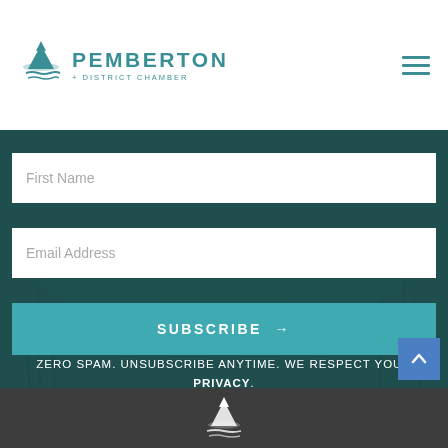[Figure (logo): Pemberton District Chamber logo with teal mountain/lake icon and text 'PEMBERTON + DISTRICT CHAMBER']
First Name
Email Address
SUBSCRIBE →
ZERO SPAM. UNSUBSCRIBE ANYTIME. WE RESPECT YOUR PRIVACY.
[Figure (logo): Pemberton District Chamber white logo icon in footer]
[Figure (other): Scroll to top button - blue square with upward chevron arrow]